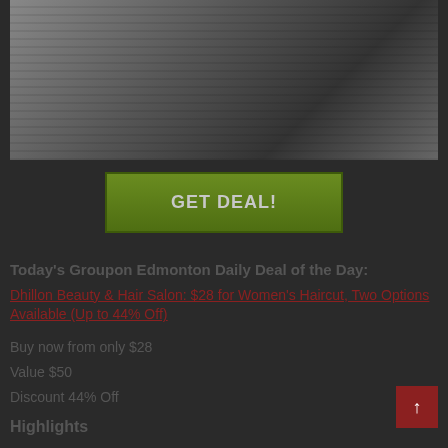[Figure (photo): Close-up photo of hands holding scissors near hair, salon/haircut scene with striped sleeve visible]
GET DEAL!
Today's Groupon Edmonton Daily Deal of the Day:
Dhillon Beauty & Hair Salon: $28 for Women's Haircut, Two Options Available (Up to 44% Off)
Buy now from only $28
Value $50
Discount 44% Off
Highlights